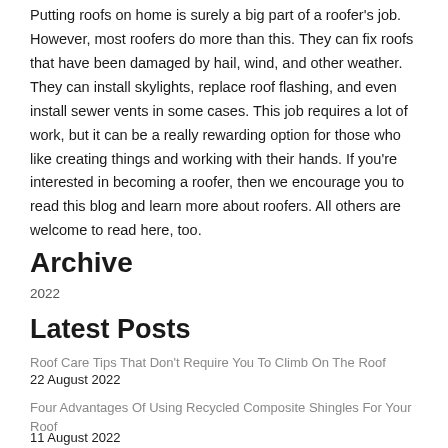Putting roofs on home is surely a big part of a roofer's job. However, most roofers do more than this. They can fix roofs that have been damaged by hail, wind, and other weather. They can install skylights, replace roof flashing, and even install sewer vents in some cases. This job requires a lot of work, but it can be a really rewarding option for those who like creating things and working with their hands. If you're interested in becoming a roofer, then we encourage you to read this blog and learn more about roofers. All others are welcome to read here, too.
Archive
2022
Latest Posts
Roof Care Tips That Don't Require You To Climb On The Roof
22 August 2022
Four Advantages Of Using Recycled Composite Shingles For Your Roof
11 August 2022